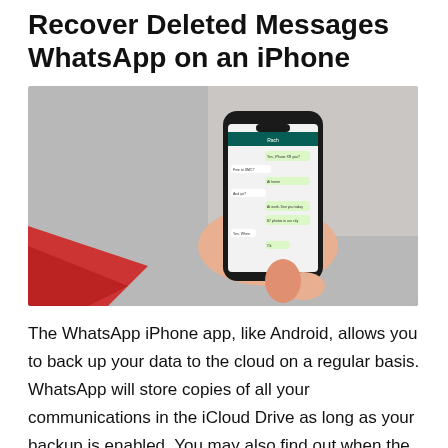Recover Deleted Messages WhatsApp on an iPhone
[Figure (photo): A hand holding an iPhone displaying a WhatsApp conversation with green chat bubbles, against a light background with a red fabric visible in the lower left.]
The WhatsApp iPhone app, like Android, allows you to back up your data to the cloud on a regular basis. WhatsApp will store copies of all your communications in the iCloud Drive as long as your backup is enabled. You may also find out when the